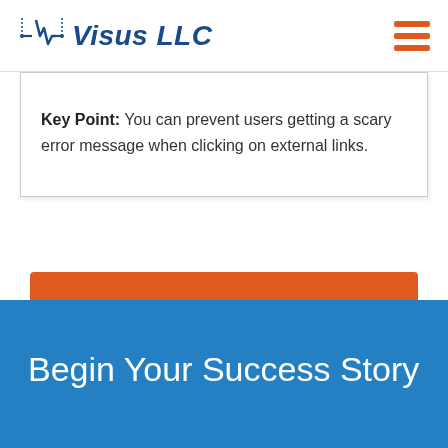Visus LLC
Key Point: You can prevent users getting a scary error message when clicking on external links.
Download PDF of All 20 Tips
Begin Your Success Story